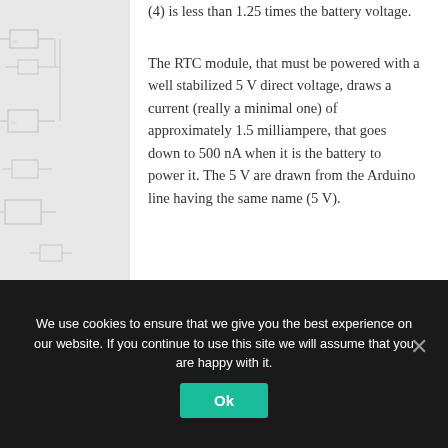(4) is less than 1.25 times the battery voltage.
The RTC module, that must be powered with a well stabilized 5 V direct voltage, draws a current (really a minimal one) of approximately 1.5 milliampere, that goes down to 500 nA when it is the battery to power it. The 5 V are drawn from the Arduino line having the same name (5 V).
In order to know time and date, Arduino has to query the DS1307 by means of the I²C-bus (of which the chip is supplied); at each query, the DS1307 replies by sending the answer and the information concerning date and time to the ATmega (still through its I²C bus). In our shield, the RTC is therefore connected to the two
We use cookies to ensure that we give you the best experience on our website. If you continue to use this site we will assume that you are happy with it.
Ok